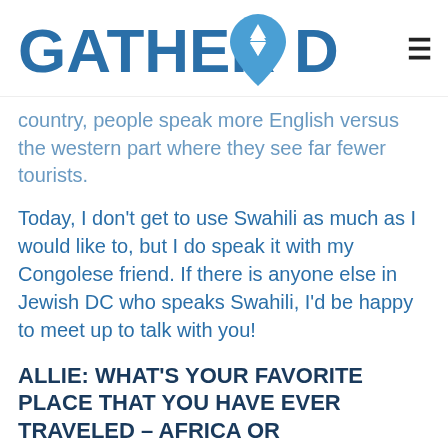[Figure (logo): GatherDC logo with blue text and a Star of David map pin icon between GATHER and DC]
country, people speak more English versus the western part where they see far fewer tourists.
Today, I don't get to use Swahili as much as I would like to, but I do speak it with my Congolese friend. If there is anyone else in Jewish DC who speaks Swahili, I'd be happy to meet up to talk with you!
ALLIE: WHAT'S YOUR FAVORITE PLACE THAT YOU HAVE EVER TRAVELED – AFRICA OR SOMEWHERE ELSE?